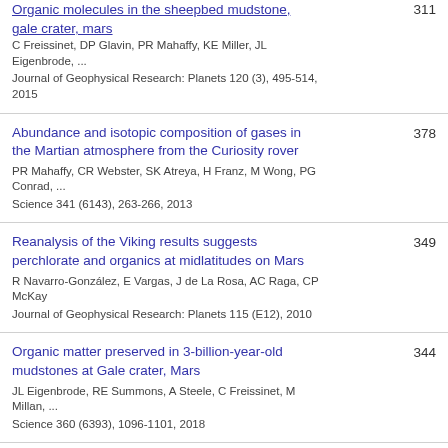Organic molecules in the sheepbed mudstone, gale crater, mars — C Freissinet, DP Glavin, PR Mahaffy, KE Miller, JL Eigenbrode, ... — Journal of Geophysical Research: Planets 120 (3), 495-514, 2015
Abundance and isotopic composition of gases in the Martian atmosphere from the Curiosity rover — PR Mahaffy, CR Webster, SK Atreya, H Franz, M Wong, PG Conrad, ... — Science 341 (6143), 263-266, 2013
Reanalysis of the Viking results suggests perchlorate and organics at midlatitudes on Mars — R Navarro-González, E Vargas, J de La Rosa, AC Raga, CP McKay — Journal of Geophysical Research: Planets 115 (E12), 2010
Organic matter preserved in 3-billion-year-old mudstones at Gale crater, Mars — JL Eigenbrode, RE Summons, A Steele, C Freissinet, M Millan, ... — Science 360 (6393), 1096-1101, 2018